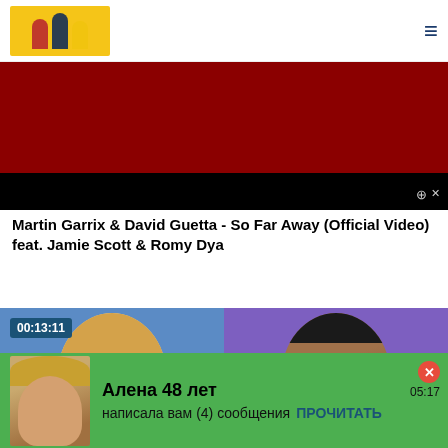[Logo banner] ≡
[Figure (screenshot): Video thumbnail showing dark red/black scene with expand icon in bottom right]
Martin Garrix & David Guetta - So Far Away (Official Video) feat. Jamie Scott & Romy Dya
[Figure (screenshot): Two video thumbnails side by side: left shows a blond man's face with duration badge 00:13:11, right shows a dark-skinned man's face on purple background]
[Figure (screenshot): Green notification banner: Profile photo of blonde woman, 'Алена 48 лет написала вам (4) сообщения' with ПРОЧИТАТЬ button, time 05:17 and close X button]